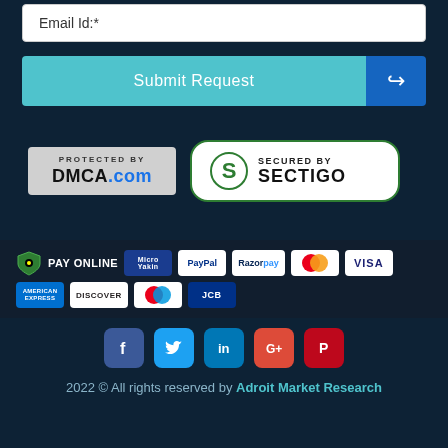Email Id:*
Submit Request
[Figure (logo): DMCA.com Protected By badge and Sectigo Secured By badge]
[Figure (infographic): Pay Online row with shield icon and payment method logos: Micro Yakin, PayPal, Razorpay, Mastercard, Visa, American Express, Discover, Maestro, JCB]
[Figure (infographic): Social media icons: Facebook, Twitter, LinkedIn, Google+, Pinterest]
2022 © All rights reserved by Adroit Market Research